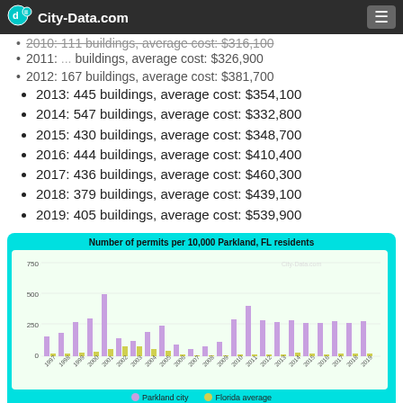City-Data.com
2010: 111 buildings, average cost: $316,100 (partially visible/cut off)
2011: buildings, average cost: $326,900 (partially visible)
2012: 167 buildings, average cost: $381,700
2013: 445 buildings, average cost: $354,100
2014: 547 buildings, average cost: $332,800
2015: 430 buildings, average cost: $348,700
2016: 444 buildings, average cost: $410,400
2017: 436 buildings, average cost: $460,300
2018: 379 buildings, average cost: $439,100
2019: 405 buildings, average cost: $539,900
[Figure (bar-chart): Number of permits per 10,000 Parkland, FL residents]